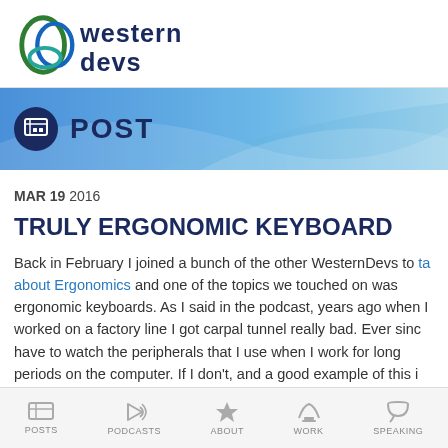[Figure (logo): Western Devs logo with overlapping circle shapes in green and blue, beside text 'western devs' in dark navy]
[Figure (infographic): Blue gradient banner with newspaper icon in dark circle and 'POST' text in dark navy uppercase]
MAR 19 2016
TRULY ERGONOMIC KEYBOARD
Back in February I joined a bunch of the other WesternDevs to talk about Ergonomics and one of the topics we touched on was ergonomic keyboards. As I said in the podcast, years ago when I worked on a factory line I got carpal tunnel really bad. Ever since I have to watch the peripherals that I use when I work for long periods on the computer. If I don't, and a good example of this i
POSTS   PODCASTS   ABOUT   WORK   SPEAKING